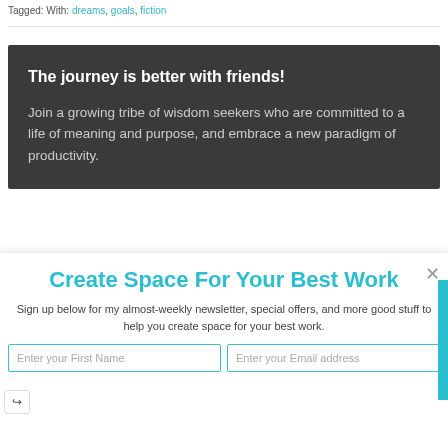Tagged: truth, dreams, goals, fiction
The journey is better with friends!

Join a growing tribe of wisdom seekers who are committed to a life of meaning and purpose, and embrace a new paradigm of productivity.
Create Space For Your Best Work
Sign up below for my almost-weekly newsletter, special offers, and more good stuff to help you create space for your best work.
Enter your First Name   Enter your Email address